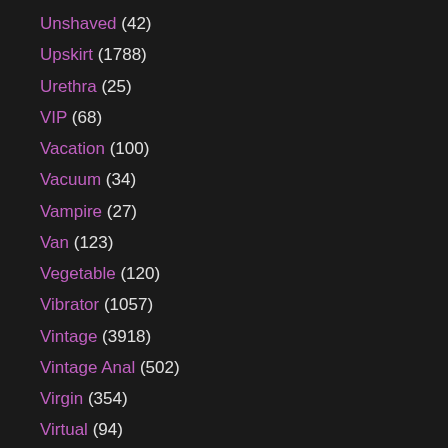Unshaved (42)
Upskirt (1788)
Urethra (25)
VIP (68)
Vacation (100)
Vacuum (34)
Vampire (27)
Van (123)
Vegetable (120)
Vibrator (1057)
Vintage (3918)
Vintage Anal (502)
Virgin (354)
Virtual (94)
Vixen (291)
Voluptuous (163)